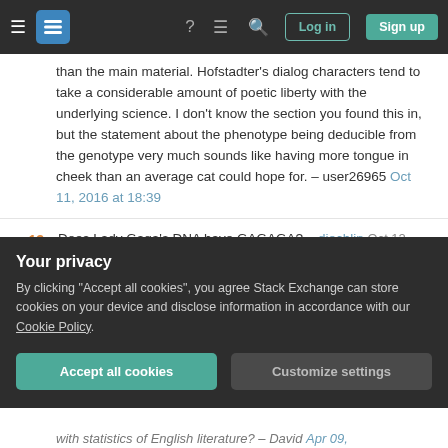Stack Exchange navigation bar with hamburger menu, logo, help, chat, search icons, Log in and Sign up buttons
than the main material. Hofstadter's dialog characters tend to take a considerable amount of poetic liberty with the underlying science. I don't know the section you found this in, but the statement about the phenotype being deducible from the genotype very much sounds like having more tongue in cheek than an average cat could hope for. – user26965 Oct 11, 2016 at 18:39
13 Does Lady Gaga's DNA have GAGAGA? – djechlin Oct 12, 2016 at 18:36
2 While I don't know the cat genome, I'm pretty sure the dog genome doesn't contain DOG. – user137 Oct 14,
Your privacy
By clicking "Accept all cookies", you agree Stack Exchange can store cookies on your device and disclose information in accordance with our Cookie Policy.
Accept all cookies  Customize settings